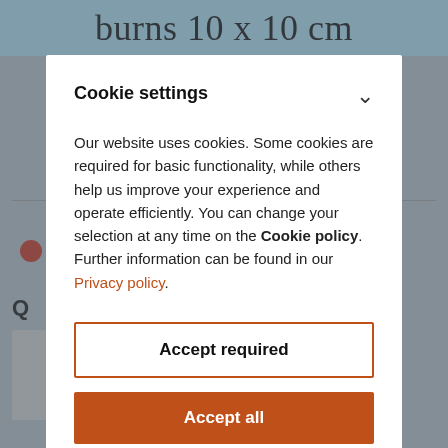burns 10 x 10 cm
Cookie settings
Our website uses cookies. Some cookies are required for basic functionality, while others help us improve your experience and operate efficiently. You can change your selection at any time on the Cookie policy. Further information can be found in our Privacy policy.
Accept required
Accept all